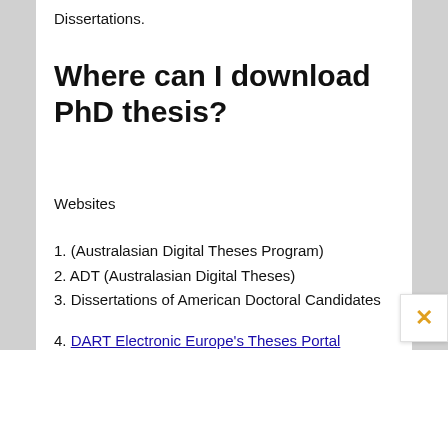Dissertations.
Where can I download PhD thesis?
Websites
1. (Australasian Digital Theses Program)
2. ADT (Australasian Digital Theses)
3. Dissertations of American Doctoral Candidates
4. DART Electronic Europe's Theses Portal